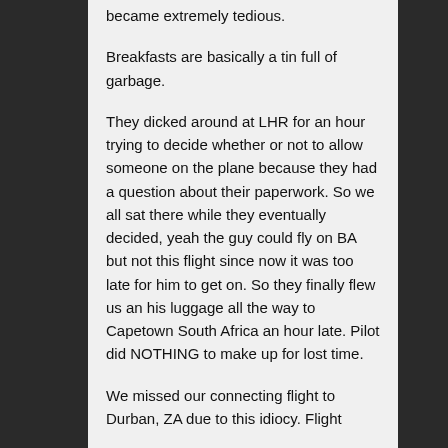became extremely tedious.
Breakfasts are basically a tin full of garbage.
They dicked around at LHR for an hour trying to decide whether or not to allow someone on the plane because they had a question about their paperwork. So we all sat there while they eventually decided, yeah the guy could fly on BA but not this flight since now it was too late for him to get on. So they finally flew us an his luggage all the way to Capetown South Africa an hour late. Pilot did NOTHING to make up for lost time.
We missed our connecting flight to Durban, ZA due to this idiocy. Flight